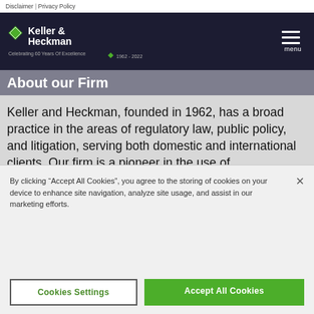Disclaimer | Privacy Policy
[Figure (logo): Keller & Heckman logo with diamond shape and text 'Celebrating 60 Years Of Excellence 1962-2022']
About our Firm
Keller and Heckman, founded in 1962, has a broad practice in the areas of regulatory law, public policy, and litigation, serving both domestic and international clients. Our firm is a pioneer in the use of interdisciplinary approaches to problem-solving. Since 1971, we have had an in-house scientific staff that works closely with the firm's attorneys on matters of technical complexity. Many of our attorneys also have government experience and expertise in multiple areas of the law.
By clicking “Accept All Cookies”, you agree to the storing of cookies on your device to enhance site navigation, analyze site usage, and assist in our marketing efforts.